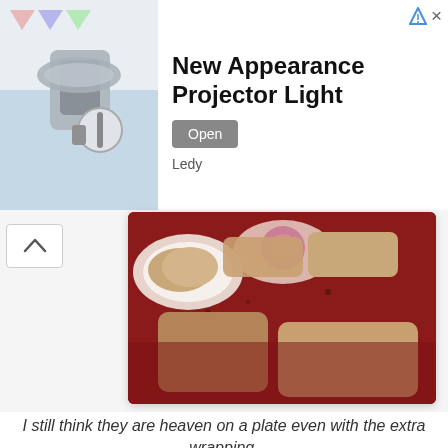[Figure (photo): Advertisement banner showing a projector light product with bird/butterfly design, white background, with 'New Appearance Projector Light' title, 'Open' button, and 'Ledy' brand name]
[Figure (photo): Food photo showing baked goods (cookies/pastries) on a red/burgundy surface with decorative plates]
I still think they are heaven on a plate even with the extra wrapping.
We went into the Cheryl & Co. test kitchen where they showed us an example of a mood board they put together of this season’s color trends for the holiday (jewel tones, white and light blue, snowflakes, and snowmen.) Yes friends, mood boards aren’t just for decorating they also apply to baked goods.
They gave us recipes for amazing butter cream frosting, ganache, and chocolate dough cutouts. These aren’t Cheryl’s Top Secret recipes but ones they created just for us